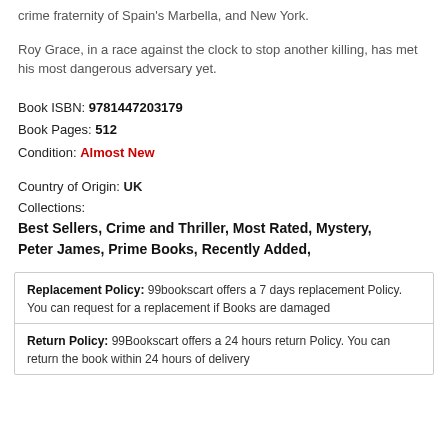crime fraternity of Spain's Marbella, and New York.
Roy Grace, in a race against the clock to stop another killing, has met his most dangerous adversary yet.
Book ISBN: 9781447203179
Book Pages: 512
Condition: Almost New
Country of Origin: UK
Collections:
Best Sellers, Crime and Thriller, Most Rated, Mystery, Peter James, Prime Books, Recently Added,
| Replacement Policy: 99bookscart offers a 7 days replacement Policy. You can request for a replacement if Books are damaged |
| Return Policy: 99Bookscart offers a 24 hours return Policy. You can return the book within 24 hours of delivery |